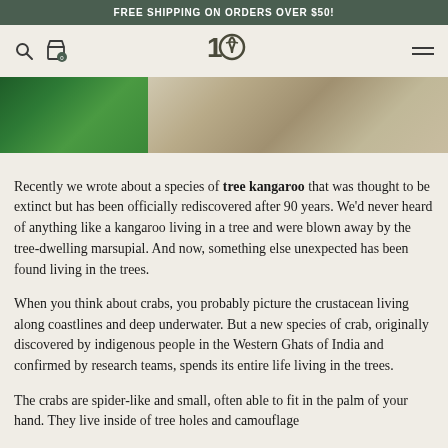FREE SHIPPING ON ORDERS OVER $50!
[Figure (screenshot): Website navigation bar with search icon, cart icon (0), centered logo '10' with tree symbol, and hamburger menu]
[Figure (photo): Hero image showing green tropical leaves on left and tree bark texture on right]
Recently we wrote about a species of tree kangaroo that was thought to be extinct but has been officially rediscovered after 90 years. We'd never heard of anything like a kangaroo living in a tree and were blown away by the tree-dwelling marsupial. And now, something else unexpected has been found living in the trees.
When you think about crabs, you probably picture the crustacean living along coastlines and deep underwater. But a new species of crab, originally discovered by indigenous people in the Western Ghats of India and confirmed by research teams, spends its entire life living in the trees.
The crabs are spider-like and small, often able to fit in the palm of your hand. They live inside of tree holes and camouflage...